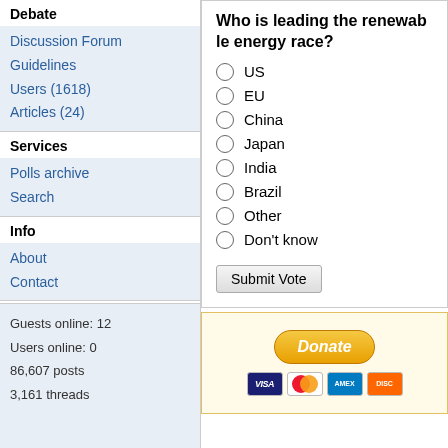Debate
Discussion Forum
Guidelines
Users (1618)
Articles (24)
Services
Polls archive
Search
Info
About
Contact
Guests online: 12
Users online: 0
86,607 posts
3,161 threads
Who is leading the renewable energy race?
US
EU
China
Japan
India
Brazil
Other
Don't know
Submit Vote
[Figure (other): PayPal Donate button with credit card logos (VISA, MasterCard, American Express, Discover)]